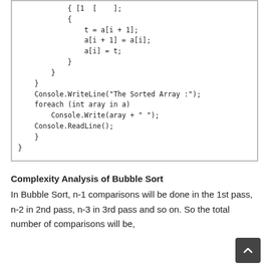[Figure (screenshot): Code block showing bubble sort C# code snippet with closing braces, Console.WriteLine, foreach loop, Console.Write, and Console.ReadLine statements]
Complexity Analysis of Bubble Sort
In Bubble Sort, n-1 comparisons will be done in the 1st pass, n-2 in 2nd pass, n-3 in 3rd pass and so on. So the total number of comparisons will be,